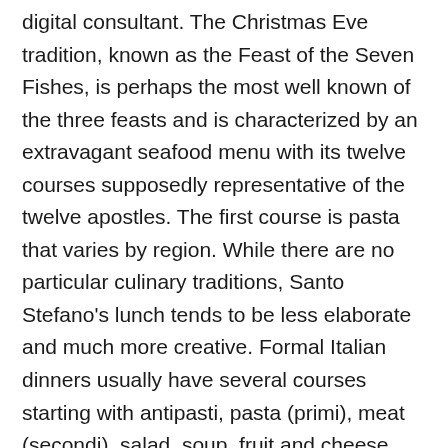digital consultant. The Christmas Eve tradition, known as the Feast of the Seven Fishes, is perhaps the most well known of the three feasts and is characterized by an extravagant seafood menu with its twelve courses supposedly representative of the twelve apostles. The first course is pasta that varies by region. While there are no particular culinary traditions, Santo Stefano's lunch tends to be less elaborate and much more creative. Formal Italian dinners usually have several courses starting with antipasti, pasta (primi), meat (secondi), salad, soup, fruit and cheese, and dessert (dolce). Grilling the eel eliminates the excess fat and makes it easier to … Downtown Philadelphia's branch of the white-linen Northern Italian steakhouse gets fishy for Christmas Eve only. On returning, I just boil water and saute. But Sicily is a very special island region with its own cuisine